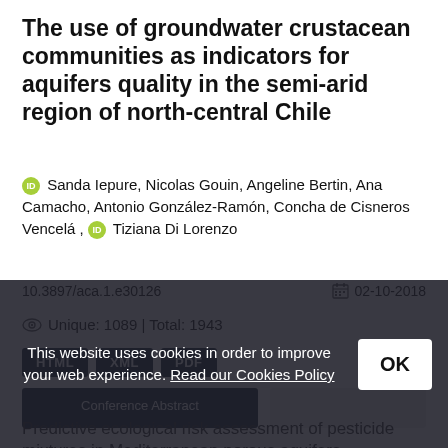The use of groundwater crustacean communities as indicators for aquifers quality in the semi-arid region of north-central Chile
Sanda Iepure, Nicolas Gouin, Angeline Bertin, Ana Camacho, Antonio González-Ramón, Concha de Cisneros Vencelá , Tiziana Di Lorenzo
10.3897/aca.1.e30126
02-10-2018
Unique: 1089 | Total: 1943
HTML XML PDF
Conference Abstract
Predictive ecological risk assessment of pesticide mixtures in Mediterranean porous aquifers
This website uses cookies in order to improve your web experience. Read our Cookies Policy